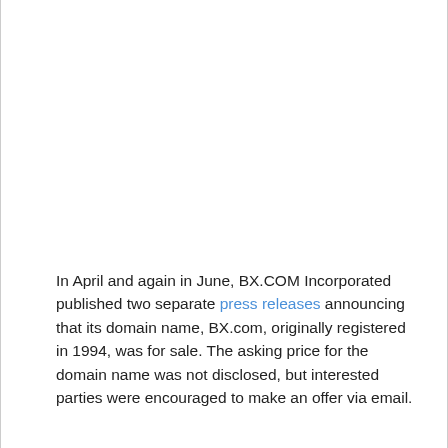In April and again in June, BX.COM Incorporated published two separate press releases announcing that its domain name, BX.com, originally registered in 1994, was for sale. The asking price for the domain name was not disclosed, but interested parties were encouraged to make an offer via email.